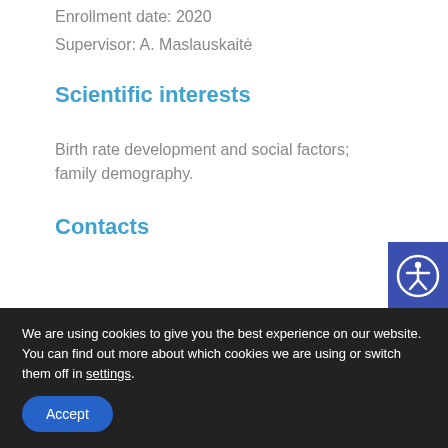Enrollment date: 2020
Supervisor: A. Maslauskaitė
Scientific interests
Birth rate development and social factors; family demography.
Contacts
[Figure (other): Accessibility icon button (person with circle) in blue/navy square]
We are using cookies to give you the best experience on our website.
You can find out more about which cookies we are using or switch them off in settings.
Accept